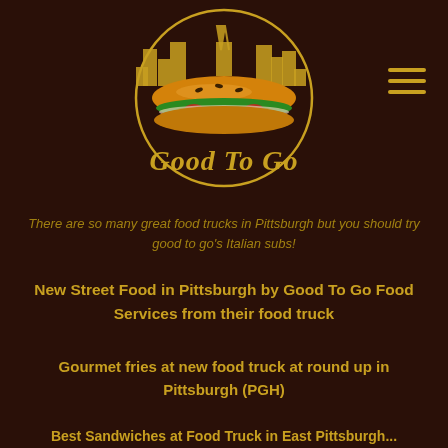[Figure (logo): Good To Go food truck logo: circular emblem with Pittsburgh city skyline outline in gold, large illustrated sub sandwich in center, cursive 'Good To Go' text in gold below]
There are so many great food trucks in Pittsburgh but you should try good to go's Italian subs!
New Street Food in Pittsburgh by Good To Go Food Services from their food truck
Gourmet fries at new food truck at round up in Pittsburgh (PGH)
Best Sandwiches at Food Truck in East Pittsburgh...